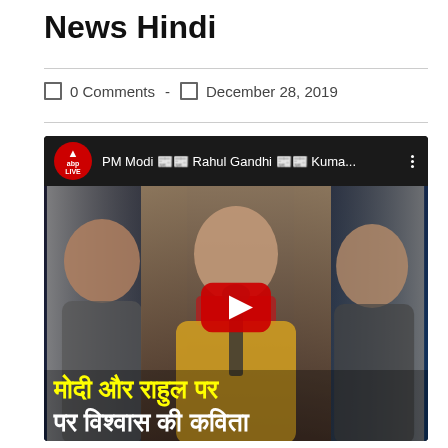News Hindi
0 Comments  -  December 28, 2019
[Figure (screenshot): YouTube video thumbnail from ABP LIVE showing PM Modi, Rahul Gandhi and another person (Kumar). Hindi text at the bottom reads 'मोदी और राहुल पर' and 'पर विश्वास की कविता'. Title bar shows: PM Modi [emoji] Rahul Gandhi [emoji] Kuma...]